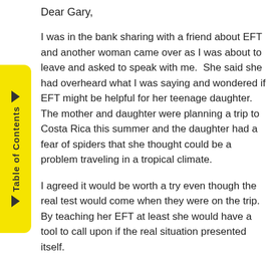Dear Gary,
I was in the bank sharing with a friend about EFT and another woman came over as I was about to leave and asked to speak with me.  She said she had overheard what I was saying and wondered if EFT might be helpful for her teenage daughter.  The mother and daughter were planning a trip to Costa Rica this summer and the daughter had a fear of spiders that she thought could be a problem traveling in a tropical climate.
I agreed it would be worth a try even though the real test would come when they were on the trip. By teaching her EFT at least she would have a tool to call upon if the real situation presented itself.
Even before having a chance to work with her about the spider phobia, the mother called and said the daughter was very upset with the idea of the